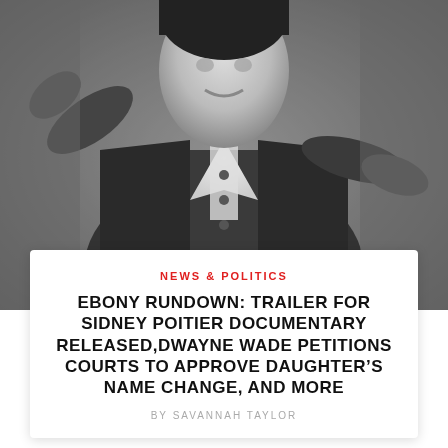[Figure (photo): Black and white photograph of a man in a suit jacket with arms raised, likely Sidney Poitier]
NEWS & POLITICS
EBONY RUNDOWN: TRAILER FOR SIDNEY POITIER DOCUMENTARY RELEASED,DWAYNE WADE PETITIONS COURTS TO APPROVE DAUGHTER’S NAME CHANGE, AND MORE
BY SAVANNAH TAYLOR